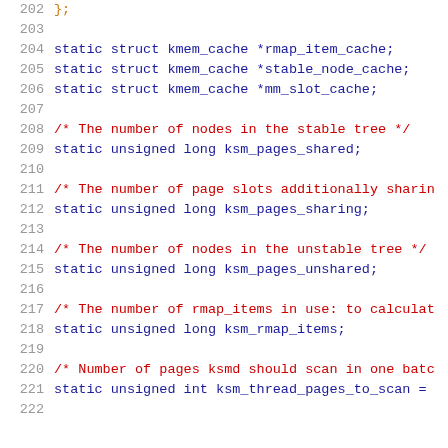202   };
203
204   static struct kmem_cache *rmap_item_cache;
205   static struct kmem_cache *stable_node_cache;
206   static struct kmem_cache *mm_slot_cache;
207
208   /* The number of nodes in the stable tree */
209   static unsigned long ksm_pages_shared;
210
211   /* The number of page slots additionally sharin
212   static unsigned long ksm_pages_sharing;
213
214   /* The number of nodes in the unstable tree */
215   static unsigned long ksm_pages_unshared;
216
217   /* The number of rmap_items in use: to calculat
218   static unsigned long ksm_rmap_items;
219
220   /* Number of pages ksmd should scan in one batc
221   static unsigned int ksm_thread_pages_to_scan =
222